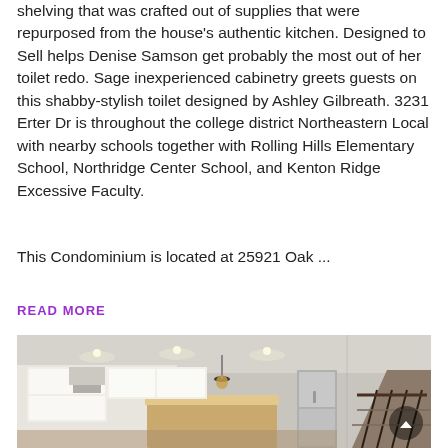shelving that was crafted out of supplies that were repurposed from the house's authentic kitchen. Designed to Sell helps Denise Samson get probably the most out of her toilet redo. Sage inexperienced cabinetry greets guests on this shabby-stylish toilet designed by Ashley Gilbreath. 3231 Erter Dr is throughout the college district Northeastern Local with nearby schools together with Rolling Hills Elementary School, Northridge Center School, and Kenton Ridge Excessive Faculty.
This Condominium is located at 25921 Oak ...
READ MORE
[Figure (photo): Interior photo of a kitchen/living area with white cabinetry, recessed lighting, a pendant light over an island, stainless steel appliances, and a staircase with dark railing visible on the right.]